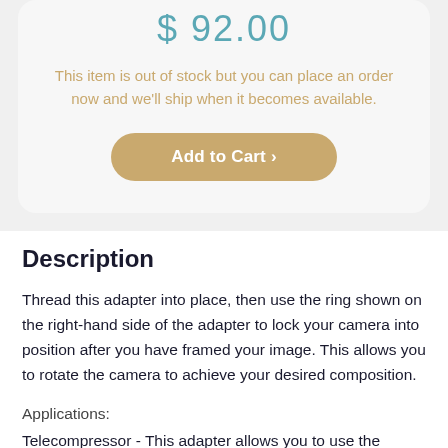$ 92.00
This item is out of stock but you can place an order now and we'll ship when it becomes available.
Add to Cart ›
Description
Thread this adapter into place, then use the ring shown on the right-hand side of the adapter to lock your camera into position after you have framed your image. This allows you to rotate the camera to achieve your desired composition.
Applications:
Telecompressor - This adapter allows you to use the